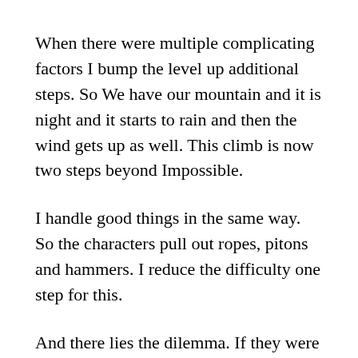When there were multiple complicating factors I bump the level up additional steps. So We have our mountain and it is night and it starts to rain and then the wind gets up as well. This climb is now two steps beyond Impossible.
I handle good things in the same way. So the characters pull out ropes, pitons and hammers. I reduce the difficulty one step for this.
And there lies the dilemma. If they were two steps beyond Impossible (-100) anyway and then they use all this extra gear and it remains Impossible (-100) why bother? Ironically the extra gear would actually make a difference at